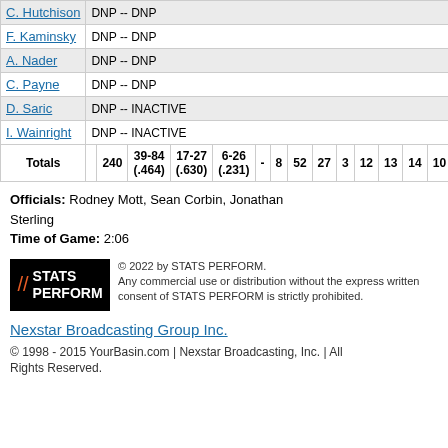| Player |  | Min | FG | FT | 3PT |  |  | Reb | Ast | TO | Blk | Stl | PF | Pts |
| --- | --- | --- | --- | --- | --- | --- | --- | --- | --- | --- | --- | --- | --- | --- |
| C. Hutchison | DNP -- DNP |  |  |  |  |  |  |  |  |  |  |  |  |  |
| F. Kaminsky | DNP -- DNP |  |  |  |  |  |  |  |  |  |  |  |  |  |
| A. Nader | DNP -- DNP |  |  |  |  |  |  |  |  |  |  |  |  |  |
| C. Payne | DNP -- DNP |  |  |  |  |  |  |  |  |  |  |  |  |  |
| D. Saric | DNP -- INACTIVE |  |  |  |  |  |  |  |  |  |  |  |  |  |
| I. Wainright | DNP -- INACTIVE |  |  |  |  |  |  |  |  |  |  |  |  |  |
| Totals |  | 240 | 39-84 (.464) | 17-27 (.630) | 6-26 (.231) | - | 8 | 52 | 27 | 3 | 12 | 13 | 14 | 10 |
Officials: Rodney Mott, Sean Corbin, Jonathan Sterling
Time of Game: 2:06
[Figure (logo): STATS PERFORM logo with copyright notice: © 2022 by STATS PERFORM. Any commercial use or distribution without the express written consent of STATS PERFORM is strictly prohibited.]
Nexstar Broadcasting Group Inc.
© 1998 - 2015 YourBasin.com | Nexstar Broadcasting, Inc. | All Rights Reserved.